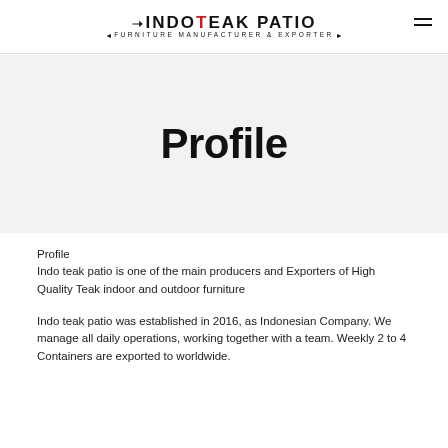IndoTeak Patio — Furniture Manufacturer & Exporter
Profile
Profile
Indo teak patio is one of the main producers and Exporters of High Quality Teak indoor and outdoor furniture
Indo teak patio was established in 2016, as Indonesian Company. We manage all daily operations, working together with a team. Weekly 2 to 4 Containers are exported to worldwide.